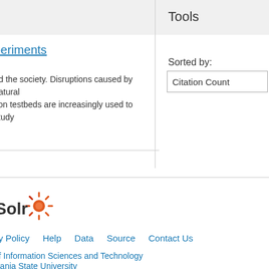Tools
…periments
nd the society. Disruptions caused by natural tion testbeds are increasingly used to study
Sorted by:
Citation Count
[Figure (logo): Apache Solr logo with orange/red sunburst icon and text 'Solr']
cy Policy   Help   Data   Source   Contact Us
of Information Sciences and Technology
lvania State University